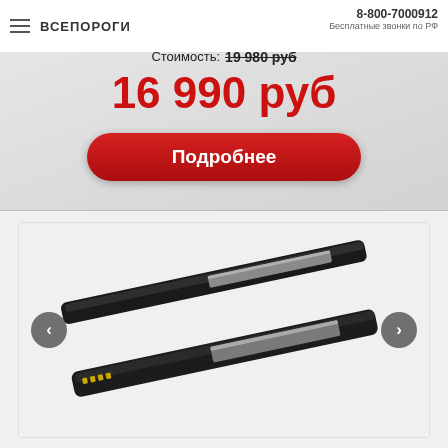ВСЕПОРОГИ  8-800-7000912  Бесплатные звонки по РФ
Стоимость: 19 980 руб
16 990 руб
Подробнее
[Figure (photo): Two elongated black metal threshold/door bar profiles shown diagonally, one with visible connector contacts]